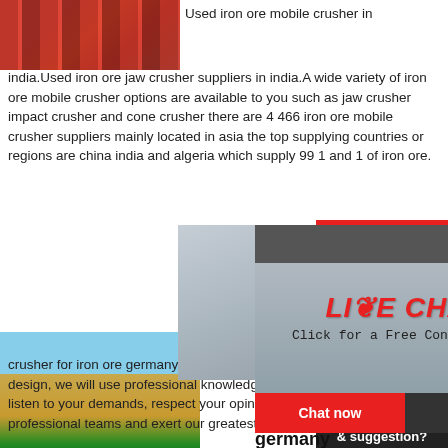[Figure (photo): Heavy machinery / red mining truck at top left]
Used iron ore mobile crusher in india.Used iron ore jaw crusher suppliers in india.A wide variety of iron ore mobile crusher options are available to you such as jaw crusher impact crusher and cone crusher there are 4 466 iron ore mobile crusher suppliers mainly located in asia the top supplying countries or regions are china india and algeria which supply 99 1 and 1 of iron ore.
[Figure (photo): Workers in yellow hard hats at industrial facility, background for live chat widget]
[Figure (screenshot): Live chat widget overlay with LIVE CHAT text, Chat now and Chat later buttons]
[Figure (photo): Customer service agent with headset on right sidebar]
[Figure (photo): Open pit mining / quarry image on lower left]
germany ma emiratesrelo
crusher for iron ore germany made For each proje design, we will use professional knowledge to hel listen to your demands, respect your opinions, an professional teams and exert our greatest efforts t suitable project scheme for you and realize the pr